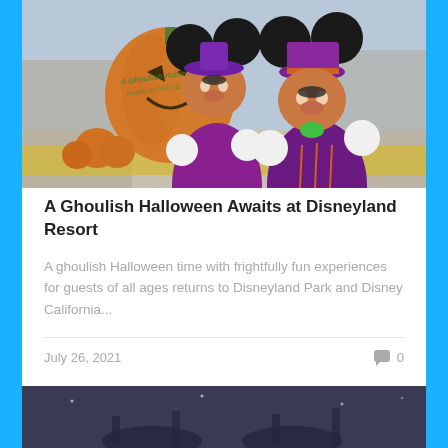[Figure (photo): Mickey Mouse and Minnie Mouse dressed in Halloween costumes standing in front of a large jack-o-lantern pumpkin display with orange and yellow flowers at Disneyland Resort]
A Ghoulish Halloween Awaits at Disneyland Resort
A ghoulish Halloween time with frightfully fun experiences for guests of all ages returns to Disneyland Park and Disney California...
July 26, 2021
0
[Figure (photo): Partial bottom image, appears to be a dark nighttime scene at a Disney park]